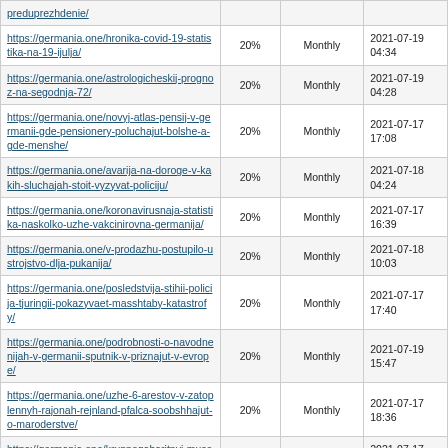| URL | Priority | Change Frequency | Last Modified |
| --- | --- | --- | --- |
| https://germania.one/preduprezhdenie/ (partial) | 20% | Monthly |  |
| https://germania.one/hronika-covid-19-statistika-na-19-ijulja/ | 20% | Monthly | 2021-07-19 04:34 |
| https://germania.one/astrologicheskij-prognoz-na-segodnja-72/ | 20% | Monthly | 2021-07-19 04:28 |
| https://germania.one/novyj-atlas-pensij-v-germanii-gde-pensionery-poluchajut-bolshe-a-gde-menshe/ | 20% | Monthly | 2021-07-17 17:08 |
| https://germania.one/avarija-na-doroge-v-kakih-sluchajah-stoit-vyzyvat-policiju/ | 20% | Monthly | 2021-07-18 04:24 |
| https://germania.one/koronavirusnaja-statistika-naskolko-uzhe-vakcinirovna-germanija/ | 20% | Monthly | 2021-07-17 16:39 |
| https://germania.one/v-prodazhu-postupilo-ustrojstvo-dlja-pukanija/ | 20% | Monthly | 2021-07-18 10:03 |
| https://germania.one/posledstvija-stihii-policija-tjuringii-pokazyvaet-masshtaby-katastrofy/ | 20% | Monthly | 2021-07-17 17:40 |
| https://germania.one/podrobnosti-o-navodnenijah-v-germanii-sputnik-v-priznajut-v-evrope/ | 20% | Monthly | 2021-07-19 15:47 |
| https://germania.one/uzhe-6-arestov-v-zatoplennyh-rajonah-rejnland-pfalca-soobshhajut-o-maroderstve/ | 20% | Monthly | 2021-07-17 18:36 |
| https://germania.one/krupnogabaritnyj-musor-kak-vybrasyvat-gde-i-skolko-jeto-stoit/ | 20% | Monthly | 2021-07-17 06:42 |